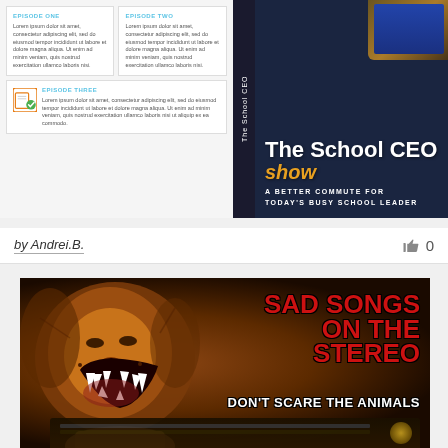[Figure (illustration): Podcast cover design for 'The School CEO Show — A Better Commute for Today's Busy School Leader'. Left panel shows episode cards (Episode One, Two, Three) with lorem ipsum text. Right panel shows dark blue background with show title text. Vertical spine label reads 'The School CEO'.]
by Andrei.B.
[Figure (illustration): Album/book cover with a roaring lion on dark background. Text reads 'SAD SONGS ON THE STEREO' in large red distressed font, and 'DON'T SCARE THE ANIMALS' in white below. A hand reaching for a stereo is visible at the bottom.]